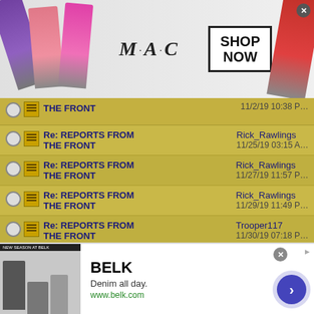[Figure (photo): MAC Cosmetics advertisement banner with lipsticks, MAC logo, and SHOP NOW button]
THE FRONT | (date truncated)
Re: REPORTS FROM THE FRONT | Rick_Rawlings | 11/25/19 03:15 AM
Re: REPORTS FROM THE FRONT | Rick_Rawlings | 11/27/19 11:57 PM
Re: REPORTS FROM THE FRONT | Rick_Rawlings | 11/29/19 11:49 PM
Re: REPORTS FROM THE FRONT | Trooper117 | 11/30/19 07:18 PM
Re: REPORTS FROM THE FRONT | Rick_Rawlings | 12/01/19 12:51 AM
Re: REPORTS FROM THE FRONT | Rick_Rawlings | 12/01/19 07:38 PM
[Figure (photo): BELK advertisement: Denim all day. www.belk.com with fashion photo]